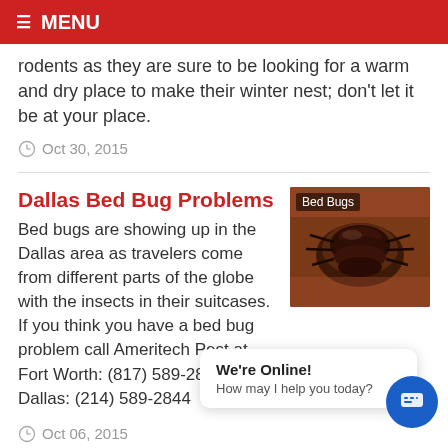MENU
rodents as they are sure to be looking for a warm and dry place to make their winter nest; don't let it be at your place.
Oct 30, 2015
Dallas Bed Bug Problems
Bed bugs are showing up in the Dallas area as travelers come from different parts of the globe with the insects in their suitcases. If you think you have a bed bug problem call Ameritech Pest at Fort Worth: (817) 589-2844 or Dallas: (214) 589-2844
[Figure (photo): Close-up photo of a bed bug on skin, labeled 'Bed Bugs']
Oct 06, 2015